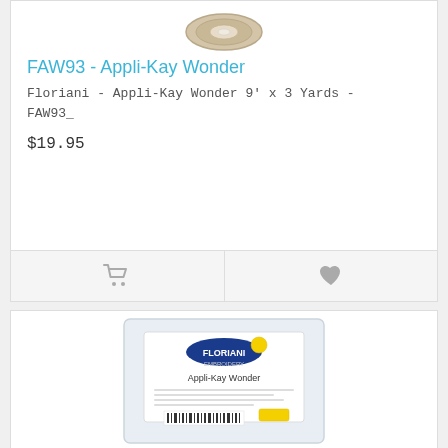[Figure (photo): Roll of Floriani Appli-Kay Wonder tape product, beige/tan colored roll viewed from above]
FAW93 - Appli-Kay Wonder
Floriani - Appli-Kay Wonder 9' x 3 Yards - FAW93_
$19.95
[Figure (photo): Package of Floriani Appli-Kay Wonder product in clear plastic bag with Floriani Embroidery label, showing product details and barcode]